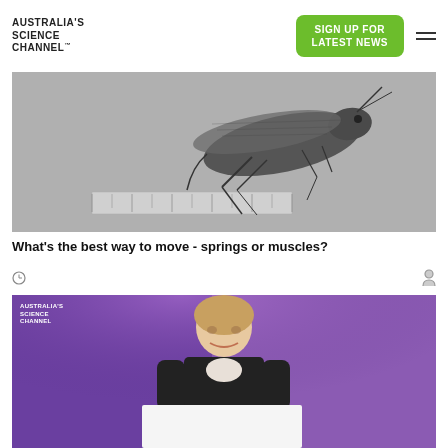AUSTRALIA'S SCIENCE CHANNEL
[Figure (photo): Black and white photograph of a locust or grasshopper insect on a ruler/measuring scale]
What's the best way to move - springs or muscles?
[Figure (logo): Clock icon and user/person icon as article metadata]
[Figure (photo): Color photograph of a woman smiling on stage with purple background lighting, holding a white board/sign, with Australia's Science Channel logo watermark in top left]